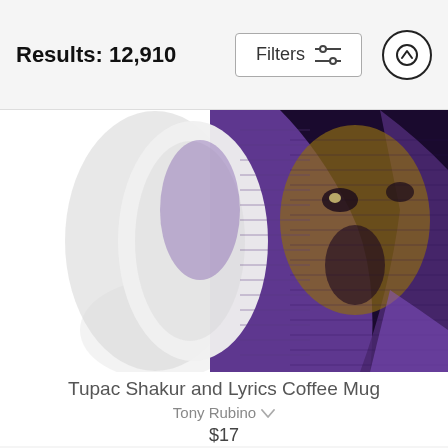Results: 12,910
Filters
[Figure (photo): A coffee mug featuring an artistic portrait illustration of Tupac Shakur rendered in purple and gold tones with a hooded figure style, shown cropped to display the front of the mug]
Tupac Shakur and Lyrics Coffee Mug
Tony Rubino
$17